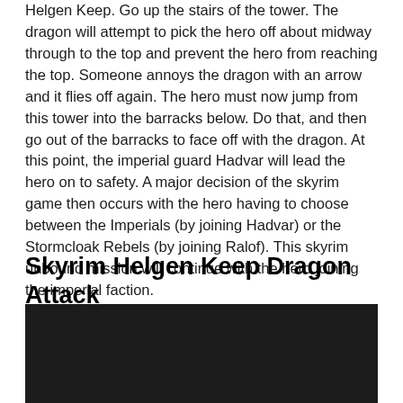Helgen Keep. Go up the stairs of the tower. The dragon will attempt to pick the hero off about midway through to the top and prevent the hero from reaching the top. Someone annoys the dragon with an arrow and it flies off again. The hero must now jump from this tower into the barracks below. Do that, and then go out of the barracks to face off with the dragon. At this point, the imperial guard Hadvar will lead the hero on to safety. A major decision of the skyrim game then occurs with the hero having to choose between the Imperials (by joining Hadvar) or the Stormcloak Rebels (by joining Ralof). This skyrim unbound mission will continue with the hero joining the imperial faction.
Skyrim Helgen Keep Dragon Attack
[Figure (photo): Dark/black image area, likely a video screenshot or thumbnail related to Skyrim Helgen Keep Dragon Attack]